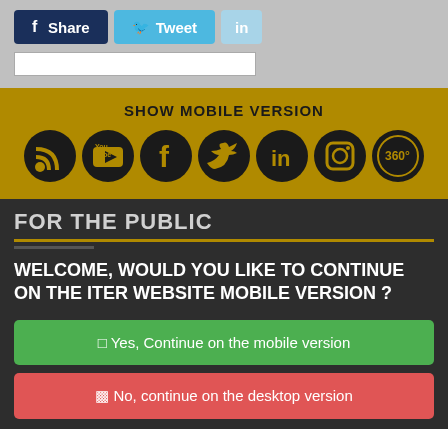[Figure (screenshot): Share, Tweet, and LinkedIn social sharing buttons on a gray background, with a white input box below]
SHOW MOBILE VERSION
[Figure (infographic): Row of social media icons: RSS, YouTube, Facebook, Twitter, LinkedIn, Instagram, 360 — black circles with gold icons on gold background]
FOR THE PUBLIC
WELCOME, WOULD YOU LIKE TO CONTINUE ON THE ITER WEBSITE MOBILE VERSION ?
Yes, Continue on the mobile version
No, continue on the desktop version